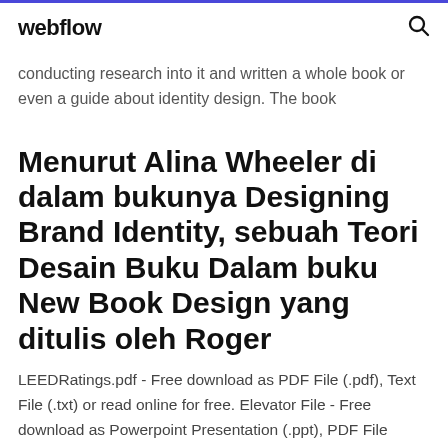webflow
conducting research into it and written a whole book or even a guide about identity design. The book
Menurut Alina Wheeler di dalam bukunya Designing Brand Identity, sebuah Teori Desain Buku Dalam buku New Book Design yang ditulis oleh Roger
LEEDRatings.pdf - Free download as PDF File (.pdf), Text File (.txt) or read online for free. Elevator File - Free download as Powerpoint Presentation (.ppt), PDF File (.pdf), Text File